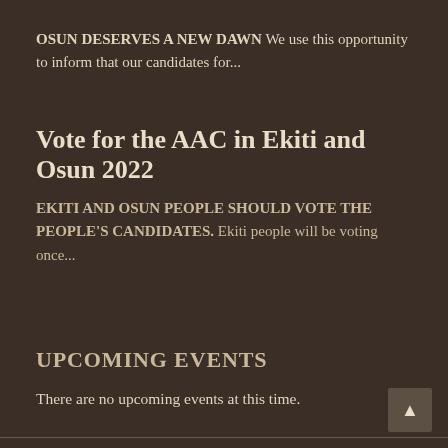OSUN DESERVES A NEW DAWN We use this opportunity to inform that our candidates for...
Vote for the AAC in Ekiti and Osun 2022
EKITI AND OSUN PEOPLE SHOULD VOTE THE PEOPLE'S CANDIDATES.  Ekiti people will be voting once...
UPCOMING EVENTS
There are no upcoming events at this time.